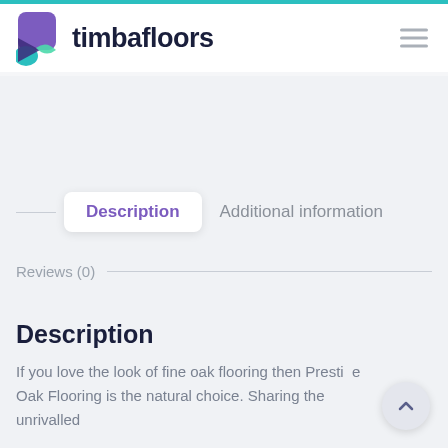timbafloors
Description
Additional information
Reviews (0)
Description
If you love the look of fine oak flooring then Prestige Oak Flooring is the natural choice. Sharing the unrivalled